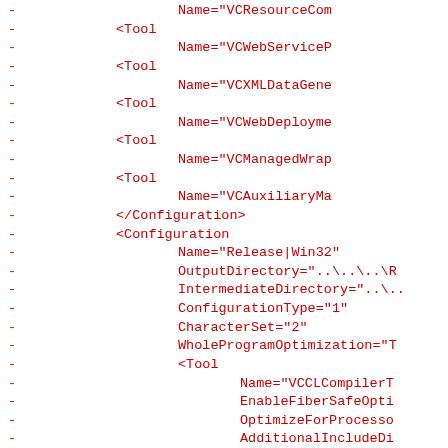XML configuration code snippet showing Visual Studio project configuration including Tool elements with VCResourceCompiler, VCWebServiceProxy, VCXMLDataGenerator, VCWebDeployment, VCManagedWrapper, VCAuxiliaryManagedWrapper, Configuration closing tag, Configuration element with Name=Release|Win32, OutputDirectory, IntermediateDirectory, ConfigurationType=1, CharacterSet=2, WholeProgramOptimization, Tool element with VCCLCompilerTool, EnableFiberSafeOptimizations, OptimizeForProcessor, AdditionalIncludeDirectories, PreprocessorDefinitions, RuntimeLibrary=0, BufferSecurityCheck, UsePrecompiledHeader, WarningLevel=3, Detect64BitPortability